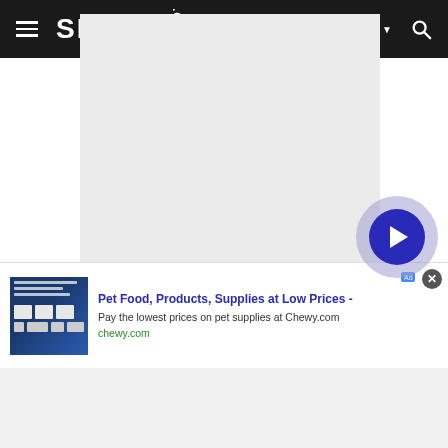SPACE.com — Subscribe — Search
[Figure (other): Large light grey rectangle placeholder image area in the center of the page]
[Figure (other): Advertisement banner: Pet Food, Products, Supplies at Low Prices - Pay the lowest prices on pet supplies at Chewy.com — chewy.com, with a play button overlay circle]